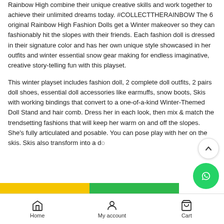Rainbow High combine their unique creative skills and work together to achieve their unlimited dreams today. #COLLECTTHERAINBOW The 6 original Rainbow High Fashion Dolls get a Winter makeover so they can fashionably hit the slopes with their friends. Each fashion doll is dressed in their signature color and has her own unique style showcased in her outfits and winter essential snow gear making for endless imaginative, creative story-telling fun with this playset.
This winter playset includes fashion doll, 2 complete doll outfits, 2 pairs doll shoes, essential doll accessories like earmuffs, snow boots, Skis with working bindings that convert to a one-of-a-kind Winter-Themed Doll Stand and hair comb. Dress her in each look, then mix & match the trendsetting fashions that will keep her warm on and off the slopes. She's fully articulated and posable. You can pose play with her on the skis. Skis also transform into a do...
Home   My account   Cart